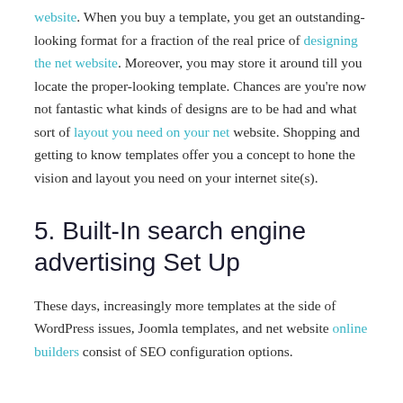website. When you buy a template, you get an outstanding-looking format for a fraction of the real price of designing the net website. Moreover, you may store it around till you locate the proper-looking template. Chances are you're now not fantastic what kinds of designs are to be had and what sort of layout you need on your net website. Shopping and getting to know templates offer you a concept to hone the vision and layout you need on your internet site(s).
5. Built-In search engine advertising Set Up
These days, increasingly more templates at the side of WordPress issues, Joomla templates, and net website online builders consist of SEO configuration options.